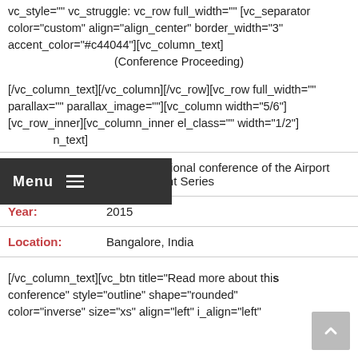vc_style="" vc_struggle: vc_row full_width="" [vc_separator color="custom" align="align_center" border_width="3" accent_color="#c44044"][vc_column_text]
(Conference Proceeding)
[/vc_column_text][/vc_column][/vc_row][vc_row full_width="" parallax="" parallax_image=""][vc_column width="5/6"] [vc_row_inner][vc_column_inner el_class="" width="1/2"] [vc_column_text]
Menu ≡  n_text]
| Conference: | 2nd International conference of the Airport Development Series |
| Year: | 2015 |
| Location: | Bangalore, India |
[/vc_column_text][vc_btn title="Read more about this conference" style="outline" shape="rounded" color="inverse" size="xs" align="left" i_align="left"